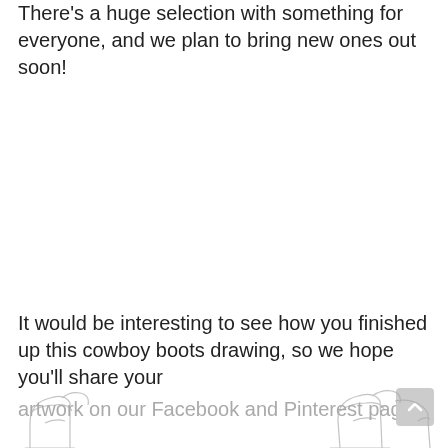There's a huge selection with something for everyone, and we plan to bring new ones out soon!
It would be interesting to see how you finished up this cowboy boots drawing, so we hope you'll share your artwork on our Facebook and Pinterest pages.
[Figure (illustration): Partial illustration of cowboy boots at the bottom of the page]